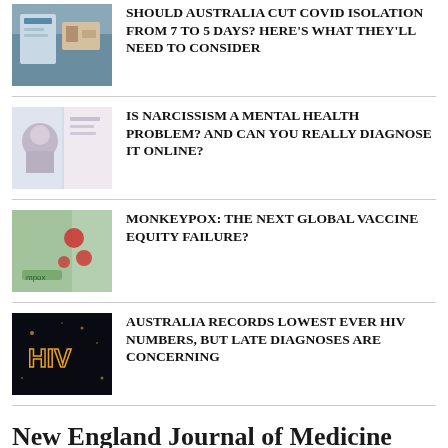[Figure (photo): COVID test kit items on a surface]
SHOULD AUSTRALIA CUT COVID ISOLATION FROM 7 TO 5 DAYS? HERE'S WHAT THEY'LL NEED TO CONSIDER
[Figure (photo): Person looking at something, narcissism themed]
IS NARCISSISM A MENTAL HEALTH PROBLEM? AND CAN YOU REALLY DIAGNOSE IT ONLINE?
[Figure (photo): Monkeypox illustration with red circles]
MONKEYPOX: THE NEXT GLOBAL VACCINE EQUITY FAILURE?
[Figure (photo): HIV lit up in lights at night]
AUSTRALIA RECORDS LOWEST EVER HIV NUMBERS, BUT LATE DIAGNOSES ARE CONCERNING
New England Journal of Medicine
EFFICACY AND SAFETY OF AN EXTRAVASCULAR IMPLANTABLE CARDIOVERTER–DEFIBRILLATOR